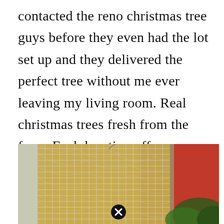contacted the reno christmas tree guys before they even had the lot set up and they delivered the perfect tree without me ever leaving my living room. Real christmas trees fresh from the farm. Each location offers premium fraser fir trees, wreaths, garlands and other holiday greenery.
[Figure (photo): Photo of a Christmas tree wrapped in netting/mesh burlap material, with a red panel and wood-toned background visible. A close/X button is visible at the bottom center.]